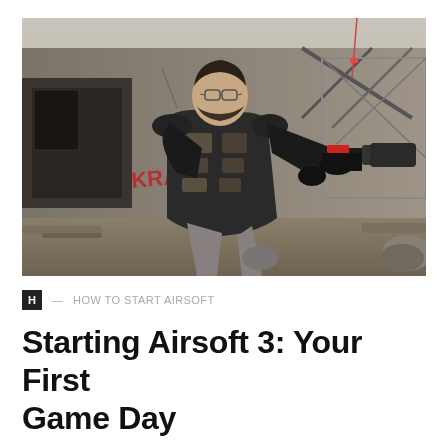[Figure (photo): A man wearing tactical gear, a plate carrier vest, and black gloves aims an airsoft pistol with a suppressor directly at the camera. He is wearing glasses and has a beard. The background shows an abandoned industrial building with graffiti reading 'KRABS' in red. The setting is outdoors on a dirt/gravel surface.]
H — HOW TO START AIRSOFT
Starting Airsoft 3: Your First Game Day